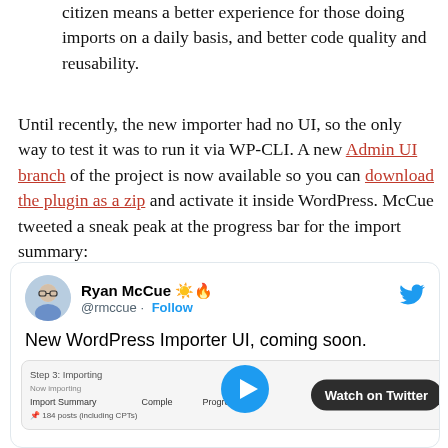citizen means a better experience for those doing imports on a daily basis, and better code quality and reusability.
Until recently, the new importer had no UI, so the only way to test it was to run it via WP-CLI. A new Admin UI branch of the project is now available so you can download the plugin as a zip and activate it inside WordPress. McCue tweeted a sneak peak at the progress bar for the import summary:
[Figure (screenshot): Embedded tweet from Ryan McCue (@rmccue) with Follow button and Twitter bird icon, containing the text 'New WordPress Importer UI, coming soon.' and a screenshot of the import progress UI with a Watch on Twitter button.]